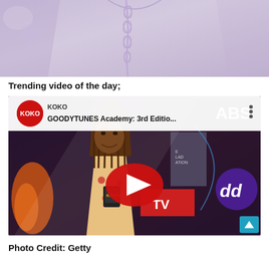[Figure (photo): Close-up of a person wearing a light lavender/lilac embroidered traditional outfit, upper torso area visible against a background with floral elements.]
Trending video of the day;
[Figure (screenshot): YouTube video thumbnail showing a KOKO channel video titled 'GOODYTUNES Academy: 3rd Editio...' with a woman holding a microphone, wearing a floral outfit with braided hair. A red YouTube play button is centered on the image. ABS logo visible top right, 'dd' purple logo on right, TV banner on left. A teal scroll-to-top button is visible bottom right.]
Photo Credit: Getty